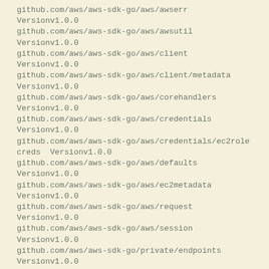github.com/aws/aws-sdk-go/aws/awserr
Versionv1.0.0
github.com/aws/aws-sdk-go/aws/awsutil
Versionv1.0.0
github.com/aws/aws-sdk-go/aws/client
Versionv1.0.0
github.com/aws/aws-sdk-go/aws/client/metadata
Versionv1.0.0
github.com/aws/aws-sdk-go/aws/corehandlers
Versionv1.0.0
github.com/aws/aws-sdk-go/aws/credentials
Versionv1.0.0
github.com/aws/aws-sdk-go/aws/credentials/ec2rolecreds  Versionv1.0.0
github.com/aws/aws-sdk-go/aws/defaults
Versionv1.0.0
github.com/aws/aws-sdk-go/aws/ec2metadata
Versionv1.0.0
github.com/aws/aws-sdk-go/aws/request
Versionv1.0.0
github.com/aws/aws-sdk-go/aws/session
Versionv1.0.0
github.com/aws/aws-sdk-go/private/endpoints
Versionv1.0.0